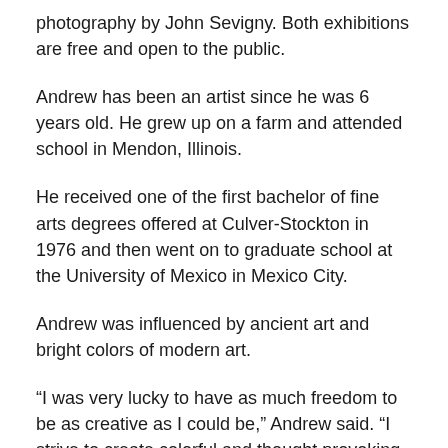photography by John Sevigny. Both exhibitions are free and open to the public.
Andrew has been an artist since he was 6 years old. He grew up on a farm and attended school in Mendon, Illinois.
He received one of the first bachelor of fine arts degrees offered at Culver-Stockton in 1976 and then went on to graduate school at the University of Mexico in Mexico City.
Andrew was influenced by ancient art and bright colors of modern art.
“I was very lucky to have as much freedom to be as creative as I could be,” Andrew said. “I strive to create colorful and thought provoking artwork. This particular